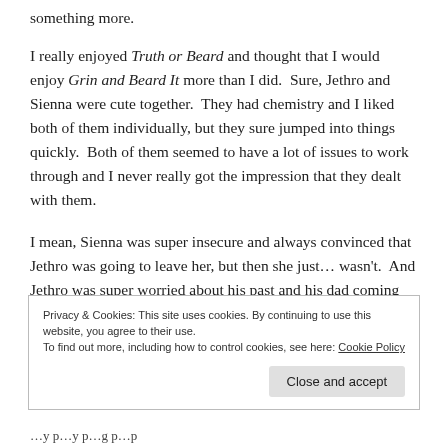something more.
I really enjoyed Truth or Beard and thought that I would enjoy Grin and Beard It more than I did.  Sure, Jethro and Sienna were cute together.  They had chemistry and I liked both of them individually, but they sure jumped into things quickly.  Both of them seemed to have a lot of issues to work through and I never really got the impression that they dealt with them.
I mean, Sienna was super insecure and always convinced that Jethro was going to leave her, but then she just… wasn't.  And Jethro was super worried about his past and his dad coming back to haunt him and Sienna, and then all of a sudden, he's just… not.  These aren't conflicts that can automatically resolve
Privacy & Cookies: This site uses cookies. By continuing to use this website, you agree to their use.
To find out more, including how to control cookies, see here: Cookie Policy
Close and accept
…y p…y p…g p…p